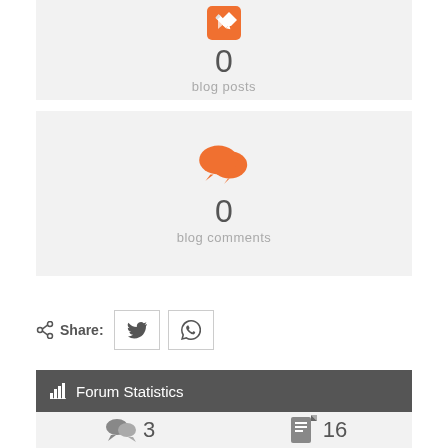[Figure (infographic): Orange pencil/edit icon with stat: 0 blog posts]
0
blog posts
[Figure (infographic): Orange speech bubbles icon with stat: 0 blog comments]
0
blog comments
Share:
[Figure (infographic): Twitter share button and WhatsApp share button]
Forum Statistics
[Figure (infographic): Forum stats: speech bubble icon with 3, document icon with 16]